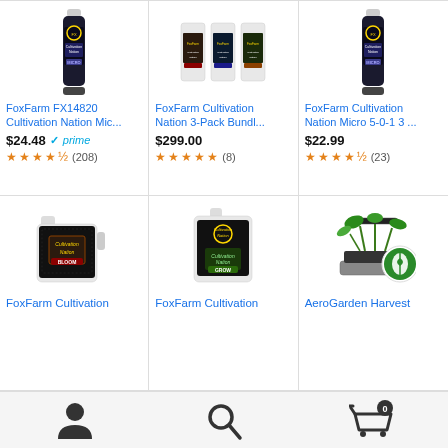[Figure (photo): FoxFarm FX14820 Cultivation Nation Micro bottle]
FoxFarm FX14820 Cultivation Nation Mic...
$24.48 prime
★★★★½ (208)
[Figure (photo): FoxFarm Cultivation Nation 3-Pack Bundle of three jugs]
FoxFarm Cultivation Nation 3-Pack Bundl...
$299.00
★★★★★ (8)
[Figure (photo): FoxFarm Cultivation Nation Micro 5-0-1 3 bottle]
FoxFarm Cultivation Nation Micro 5-0-1 3 ...
$22.99
★★★★½ (23)
[Figure (photo): FoxFarm Cultivation Nation Bloom jug]
FoxFarm Cultivation
[Figure (photo): FoxFarm Cultivation Nation Grow jug]
FoxFarm Cultivation
[Figure (photo): AeroGarden Harvest indoor garden with plants]
AeroGarden Harvest
[Figure (other): Bottom navigation bar with person icon, search icon, and cart icon with badge 0]